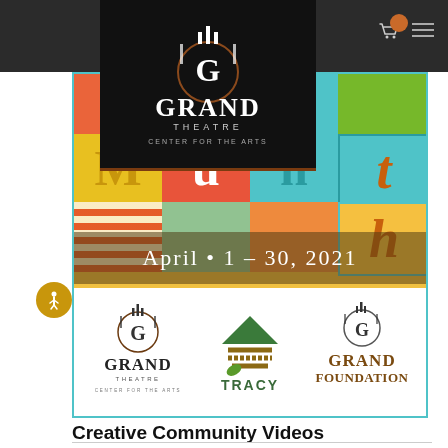[Figure (screenshot): Grand Theatre Center for the Arts website screenshot showing navigation bar with cart icon and hamburger menu, an event banner for Tracy Arts Month April 1-30 2021 with colorful block letters, and sponsor logos including Grand Theatre, City of Tracy, and Grand Foundation.]
Creative Community Videos
As part of Tracy Arts Month in April of 2021, the Tracy Arts Commission invited local area artists and